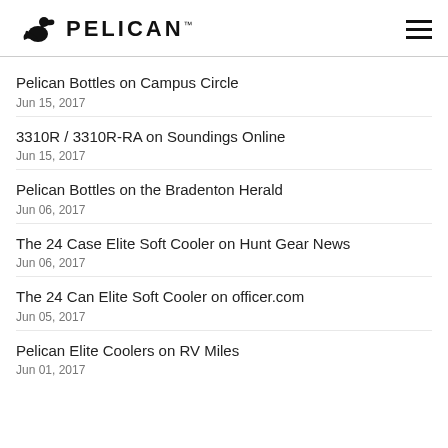PELICAN
Pelican Bottles on Campus Circle
Jun 15, 2017
3310R / 3310R-RA on Soundings Online
Jun 15, 2017
Pelican Bottles on the Bradenton Herald
Jun 06, 2017
The 24 Case Elite Soft Cooler on Hunt Gear News
Jun 06, 2017
The 24 Can Elite Soft Cooler on officer.com
Jun 05, 2017
Pelican Elite Coolers on RV Miles
Jun 01, 2017